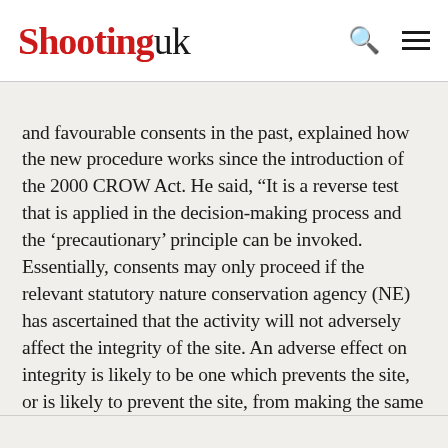Shootinguk
and favourable consents in the past, explained how the new procedure works since the introduction of the 2000 CROW Act. He said, “It is a reverse test that is applied in the decision-making process and the ‘precautionary’ principle can be invoked. Essentially, consents may only proceed if the relevant statutory nature conservation agency (NE) has ascertained that the activity will not adversely affect the integrity of the site. An adverse effect on integrity is likely to be one which prevents the site, or is likely to prevent the site, from making the same contribution to favourable conservation status for the relevant conservation feature as it did at the time of its designation.”